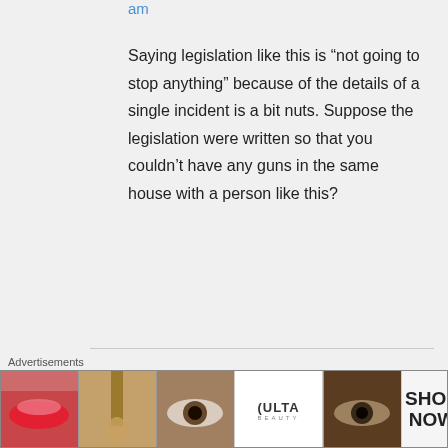am
Saying legislation like this is “not going to stop anything” because of the details of a single incident is a bit nuts. Suppose the legislation were written so that you couldn’t have any guns in the same house with a person like this?
Curtis on April 5, 2014 at 11:45 pm
Just a single event? Yeah.
Advertisements
[Figure (photo): Advertisement banner for ULTA Beauty showing cosmetic product images (lips with red lipstick, makeup brush, eye with eyeshadow, ULTA logo, eye with dark makeup) and SHOP NOW text]